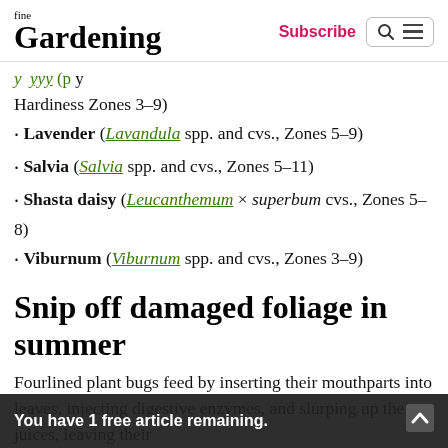fine Gardening | Subscribe
Hardiness Zones 3–9)
Lavender (Lavandula spp. and cvs., Zones 5–9)
Salvia (Salvia spp. and cvs., Zones 5–11)
Shasta daisy (Leucanthemum × superbum cvs., Zones 5–8)
Viburnum (Viburnum spp. and cvs., Zones 3–9)
Snip off damaged foliage in summer
Fourlined plant bugs feed by inserting their mouthparts into leaves, injecting digestive enzymes, and slurping up the juices, leaving their telltale damage behind. Luckily for gardeners, these bugs produce only one generation per year,
You have 1 free article remaining.